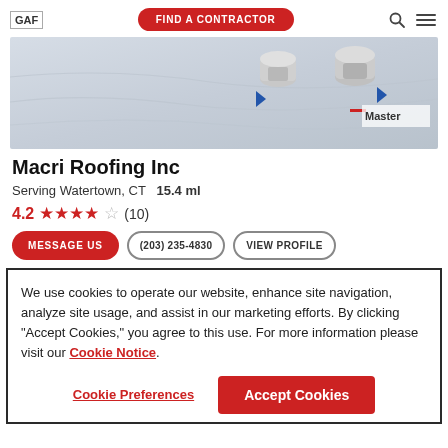GAF | FIND A CONTRACTOR
[Figure (photo): Banner image showing a light gray roofing surface with two silver cylindrical roof vents, a Master contractor badge in the bottom right corner]
Macri Roofing Inc
Serving Watertown, CT  15.4 ml
4.2 ★★★★☆ (10)
MESSAGE US  (203) 235-4830  VIEW PROFILE
We use cookies to operate our website, enhance site navigation, analyze site usage, and assist in our marketing efforts. By clicking "Accept Cookies," you agree to this use. For more information please visit our Cookie Notice.
Cookie Preferences  Accept Cookies